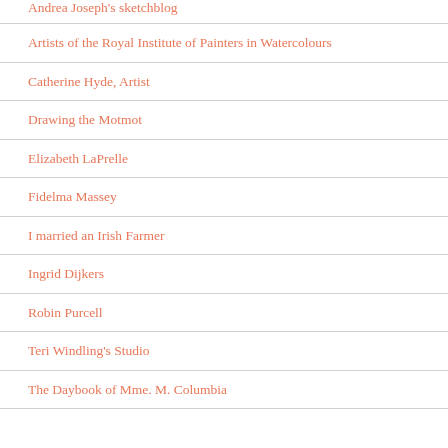Andrea Joseph's sketchblog
Artists of the Royal Institute of Painters in Watercolours
Catherine Hyde, Artist
Drawing the Motmot
Elizabeth LaPrelle
Fidelma Massey
I married an Irish Farmer
Ingrid Dijkers
Robin Purcell
Teri Windling's Studio
The Daybook of Mme. M. Columbia